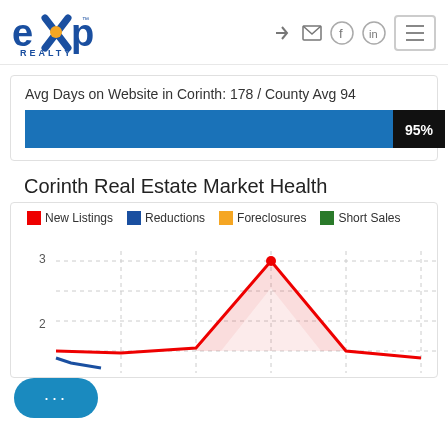eXp Realty header with navigation icons
Avg Days on Website in Corinth: 178 / County Avg 94
[Figure (bar-chart): Avg Days on Website in Corinth: 178 / County Avg 94]
Corinth Real Estate Market Health
[Figure (line-chart): Line chart showing real estate market health metrics over time. The New Listings (red) line peaks at 3. Chart partially visible, y-axis shows values 2 and 3.]